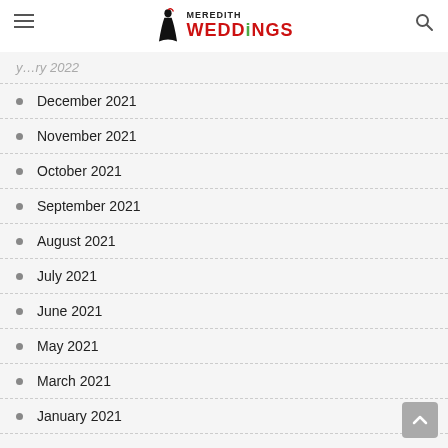Meredith Weddings
December 2021
November 2021
October 2021
September 2021
August 2021
July 2021
June 2021
May 2021
March 2021
January 2021